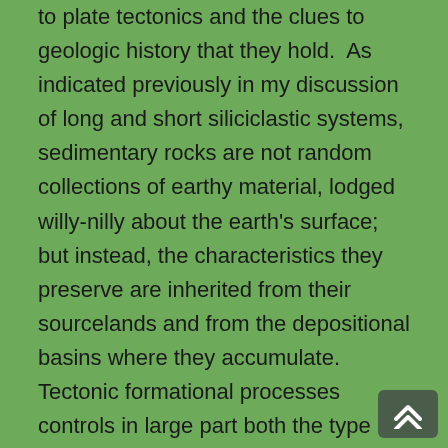to plate tectonics and the clues to geologic history that they hold. As indicated previously in my discussion of long and short siliciclastic systems, sedimentary rocks are not random collections of earthy material, lodged willy-nilly about the earth's surface; but instead, the characteristics they preserve are inherited from their sourcelands and from the depositional basins where they accumulate. Tectonic formational processes controls in large part both the type and composition of the crustal uplift from which sediment is generated by weathering and erosion, and the parameters of the basin where the sediment accumulates to form sedimentary rock. Each type of sedimentary rock outcropping in a depositional basin preserves compositional and textural features, sedimentary structures, and fossil content that reflects the physical and geological signature of its sourceland (relief, composition, distance from the basin, etc.), as well